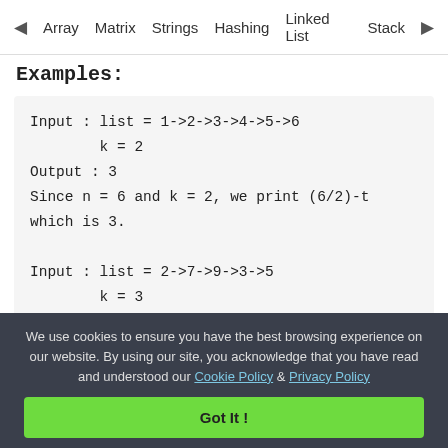◀ Array   Matrix   Strings   Hashing   Linked List   Stack ▶
Examples:
Input : list = 1->2->3->4->5->6
        k = 2
Output : 3
Since n = 6 and k = 2, we print (6/2)-t
which is 3.
Input : list = 2->7->9->3->5
        k = 3
Output : 7
Since n is 5 and k is 3, we print ceil(
We use cookies to ensure you have the best browsing experience on our website. By using our site, you acknowledge that you have read and understood our Cookie Policy & Privacy Policy
Got It !